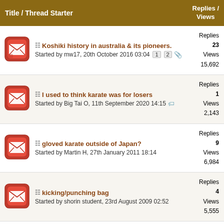Title / Thread Starter | Replies / Views
Koshiki history in australia & its pioneers. Started by mw17, 20th October 2016 03:04 | Replies 23 Views 15,692
I used to think karate was for losers Started by Big Tai O, 11th September 2020 14:15 | Replies 1 Views 2,143
gloved karate outside of Japan? Started by Martin H, 27th January 2011 18:14 | Replies 9 Views 6,984
kicking/punching bag Started by shorin student, 23rd August 2009 02:52 | Replies 4 Views 5,555
learning kyokushin? Started by menkotedo, 5th November 2007 16:30 | Replies 11 Views 7,675
What is All Japan Karatedou (Federation) | Replies